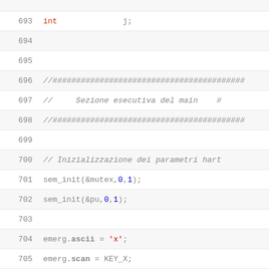Code listing lines 693-712, C source code with syntax highlighting
693    int    j;
694    (empty)
695    (empty)
696    //#####################################
697    //    Sezione esecutiva del main    ##
698    //#####################################
699    (empty)
700    // Inizializzazione dei parametri hart
701    sem_init(&mutex,0,1);
702    sem_init(&pu,0,1);
703    (empty)
704    emerg.ascii = 'x';
705    emerg.scan = KEY_X;
706    emerg.flag = ALTL_BIT;
707    keyb_hook(emerg, my_end);
708    sys_atrunlevel(end, NULL, RUNLEVEL_BE
709    (empty)
710    if (grx_open(800, 600, 8) < 0)
711        {
712            cprintf("GRX Err\n");